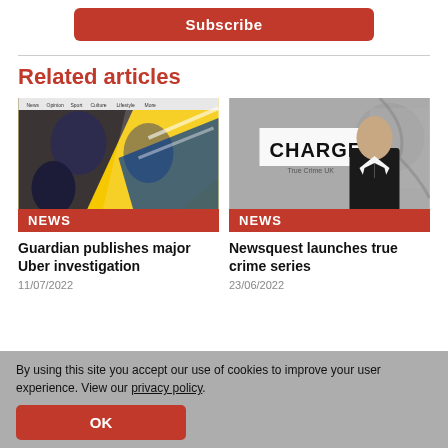[Figure (other): Subscribe button (red rounded rectangle)]
Related articles
[Figure (photo): Guardian website screenshot showing political figures on yellow/black background with NEWS badge]
Guardian publishes major Uber investigation
11/07/2022
[Figure (photo): CHARGED True Crime UK podcast image showing a young man in a suit against graffiti wall with NEWS badge]
Newsquest launches true crime series
23/06/2022
By using this site you accept our use of cookies to improve your user experience. View our privacy policy.
OK